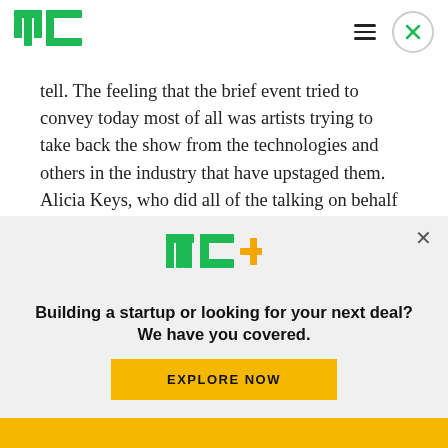TechCrunch logo, hamburger menu, close button
tell. The feeling that the brief event tried to convey today most of all was artists trying to take back the show from the technologies and others in the industry that have upstaged them. Alicia Keys, who did all of the talking on behalf of the artists, sketched out the vision like this:
[Figure (logo): TechCrunch TC+ logo in green with orange plus sign]
Building a startup or looking for your next deal? We have you covered.
EXPLORE NOW